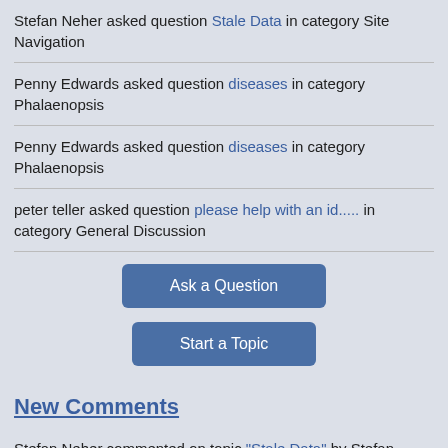Stefan Neher asked question Stale Data in category Site Navigation
Penny Edwards asked question diseases in category Phalaenopsis
Penny Edwards asked question diseases in category Phalaenopsis
peter teller asked question please help with an id..... in category General Discussion
Ask a Question
Start a Topic
New Comments
Stefan Neher commented on topic "Stale Data" by Stefan Neher
Susan Fairbairn commented on topic "diseases" by Penny Edwards
Robert H. Findlay commented on topic "seed vs. pollen parent " by